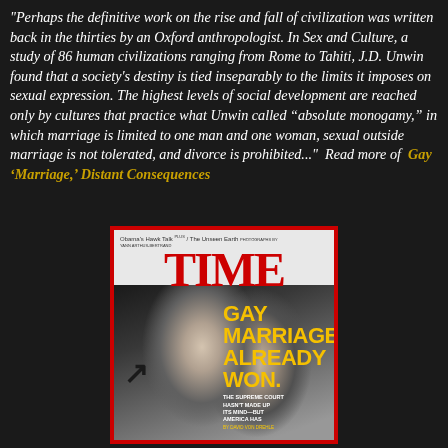"Perhaps the definitive work on the rise and fall of civilization was written back in the thirties by an Oxford anthropologist. In Sex and Culture, a study of 86 human civilizations ranging from Rome to Tahiti, J.D. Unwin found that a society's destiny is tied inseparably to the limits it imposes on sexual expression. The highest levels of social development are reached only by cultures that practice what Unwin called “absolute monogamy,” in which marriage is limited to one man and one woman, sexual outside marriage is not tolerated, and divorce is prohibited..."  Read more of  Gay ‘Marriage,’ Distant Consequences
[Figure (photo): TIME magazine cover showing two people kissing in black and white with headline 'GAY MARRIAGE ALREADY WON. THE SUPREME COURT HASN'T MADE UP ITS MIND—BUT AMERICA HAS'. Header reads 'Obama's Hawk Talk / The Unseen Earth'. Red border frame.]